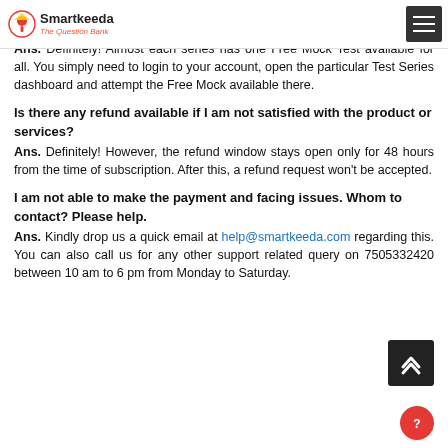Smartkeeda — The Question Bank
Is there any Free Mock Test available to evaluate content and analysis features?
Ans. Definitely! Almost each series has one Free Mock Test available for all. You simply need to login to your account, open the particular Test Series dashboard and attempt the Free Mock available there.
Is there any refund available if I am not satisfied with the product or services?
Ans. Definitely! However, the refund window stays open only for 48 hours from the time of subscription. After this, a refund request won't be accepted.
I am not able to make the payment and facing issues. Whom to contact? Please help.
Ans. Kindly drop us a quick email at help@smartkeeda.com regarding this. You can also call us for any other support related query on 7505332420 between 10 am to 6 pm from Monday to Saturday.